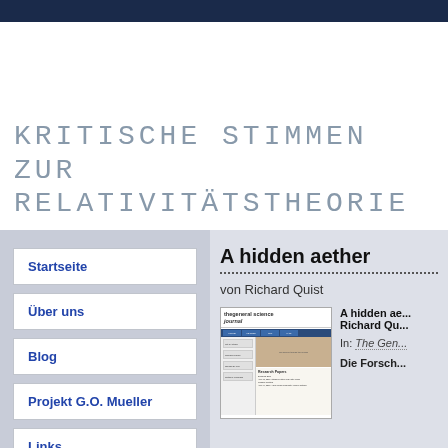Kritische Stimmen zur Relativitätstheorie
Startseite
Über uns
Blog
Projekt G.O. Mueller
Links
A hidden aether
von Richard Quist
[Figure (screenshot): Screenshot of The General Science Journal website showing research papers listing]
A hidden ae... Richard Qu...
In: The Gen...
Die Forsch...